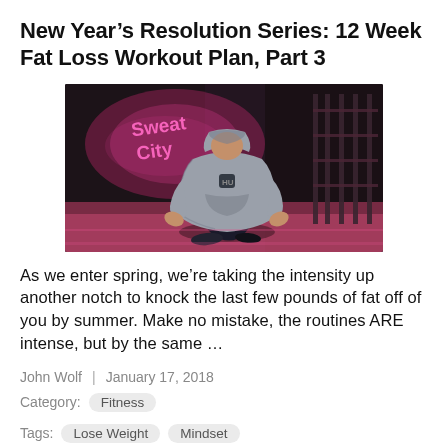New Year's Resolution Series: 12 Week Fat Loss Workout Plan, Part 3
[Figure (photo): Person in a grey hoodie kneeling on the floor of a gym called 'Sweat City', with pink neon sign in the background and gym equipment visible.]
As we enter spring, we're taking the intensity up another notch to knock the last few pounds of fat off of you by summer. Make no mistake, the routines ARE intense, but by the same …
John Wolf  |  January 17, 2018
Category:  Fitness
Tags:  Lose Weight  Mindset